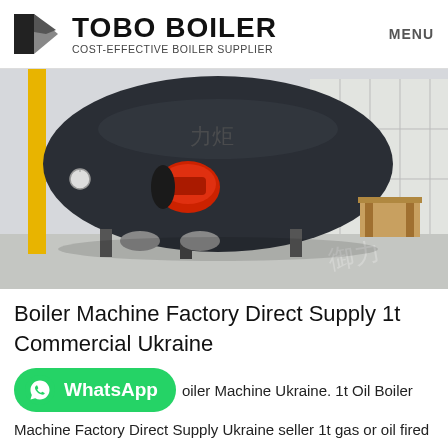TOBO BOILER COST-EFFECTIVE BOILER SUPPLIER
[Figure (photo): Industrial gas boiler with red burner in a factory setting, with yellow pipe on the left and glass-partitioned room on the right]
Boiler Machine Factory Direct Supply 1t Commercial Ukraine
[Figure (logo): WhatsApp green rounded button with phone icon and text 'WhatsApp']
oiler Machine Ukraine. 1t Oil Boiler Machine Factory Direct Supply Ukraine seller 1t gas or oil fired boiler thailand. WNS 1t 2t 3t 4t 6t 8t 10t natural gas